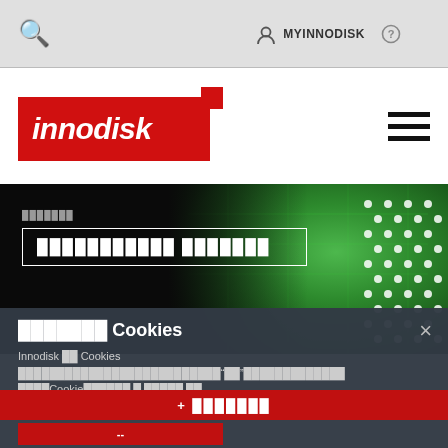MYINNODISK  [help icon]
[Figure (logo): Innodisk logo — white italic text on red background with small red square accent top-right]
[Figure (photo): Hero banner showing green circuit board / PCB with white solder dots on dark background. Overlaid white-bordered box with placeholder text labels.]
使用Cookies Innodisk 以 Cookies 幫助我們理解您使用我們網站的方式，以「是」接受以下條款，並繼續使用我們的Cookie政策閱讀 。 了解更多 。
+ 瞭解更多